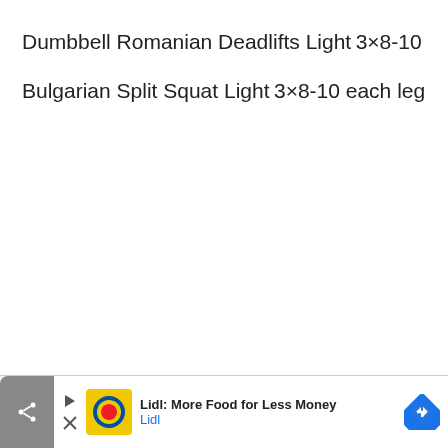Dumbbell Romanian Deadlifts Light
3×8-10
Bulgarian Split Squat Light
3×8-10 each leg
Lidl: More Food for Less Money — Lidl (advertisement)